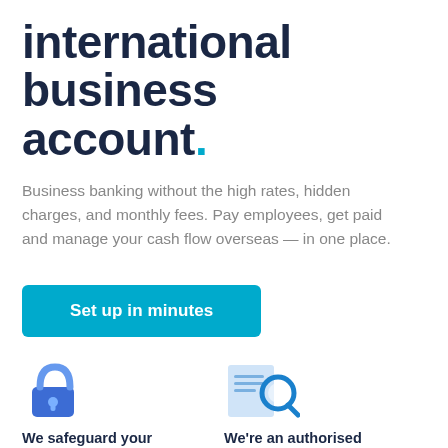international business account.
Business banking without the high rates, hidden charges, and monthly fees. Pay employees, get paid and manage your cash flow overseas — in one place.
Set up in minutes
[Figure (illustration): Blue padlock icon representing money safeguarding]
We safeguard your money in top financial institutions
Learn more ›
[Figure (illustration): Blue magnifying glass over document icon representing authorised financial services]
We're an authorised financial services provider
Learn more ›